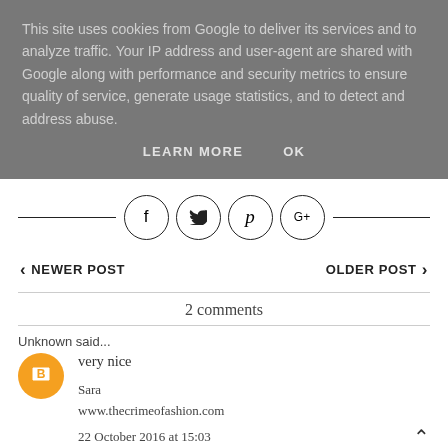This site uses cookies from Google to deliver its services and to analyze traffic. Your IP address and user-agent are shared with Google along with performance and security metrics to ensure quality of service, generate usage statistics, and to detect and address abuse.
LEARN MORE   OK
[Figure (infographic): Social sharing buttons row: Facebook, Twitter, Pinterest, Google+ icons in circles with horizontal lines on each side]
‹ NEWER POST
OLDER POST ›
2 comments
Unknown said...
very nice
Sara
www.thecrimeofafashion.com
22 October 2016 at 15:03